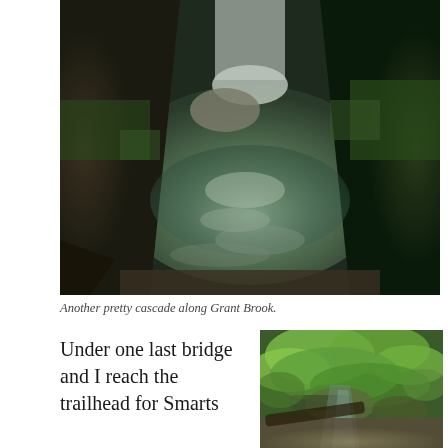[Figure (photo): A cascade along Grant Brook, viewed from above showing a dark green rocky gorge with flowing water reflecting light, mossy rocks on both sides and a small waterfall visible in the upper portion.]
Another pretty cascade along Grant Brook.
Under one last bridge and I reach the trailhead for Smarts
[Figure (photo): A lush green forest scene along a small brook or stream with ferns, mossy rocks, logs, and dense green foliage.]